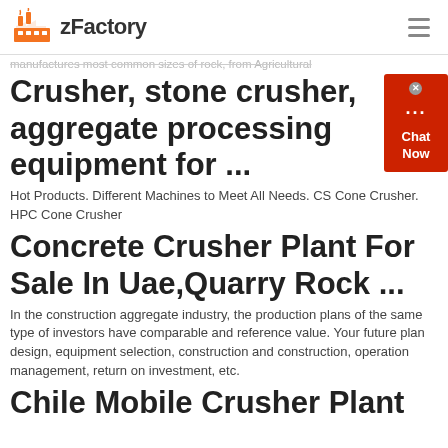zFactory
manufactures most common sizes of rock, from Agricultural
Crusher, stone crusher, aggregate processing equipment for ...
Hot Products. Different Machines to Meet All Needs. CS Cone Crusher. HPC Cone Crusher
Concrete Crusher Plant For Sale In Uae,Quarry Rock ...
In the construction aggregate industry, the production plans of the same type of investors have comparable and reference value. Your future plan design, equipment selection, construction and construction, operation management, return on investment, etc.
Chile Mobile Crusher Plant